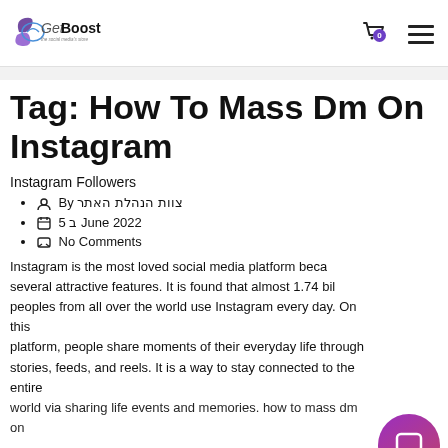[Figure (logo): GetBoost - the social media's store logo with purple/blue swoosh graphic]
Tag: How To Mass Dm On Instagram
Instagram Followers
By צוות הנהלת האתר
5 ב June 2022
No Comments
Instagram is the most loved social media platform because of several attractive features. It is found that almost 1.74 billion peoples from all over the world use Instagram every day. On this platform, people share moments of their everyday life through stories, feeds, and reels. It is a way to stay connected to the entire world via sharing life events and memories. how to mass dm on